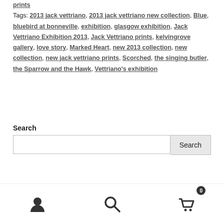prints
Tags: 2013 jack vettriano, 2013 jack vettriano new collection, Blue, bluebird at bonneville, exhibition, glasgow exhibition, Jack Vettriano Exhibition 2013, Jack Vettriano prints, kelvingrove gallery, love story, Marked Heart, new 2013 collection, new collection, new jack vettriano prints, Scorched, the singing butler, the Sparrow and the Hawk, Vettriano's exhibition
Search
Recent Posts
User icon, Search icon, Cart icon with badge 0